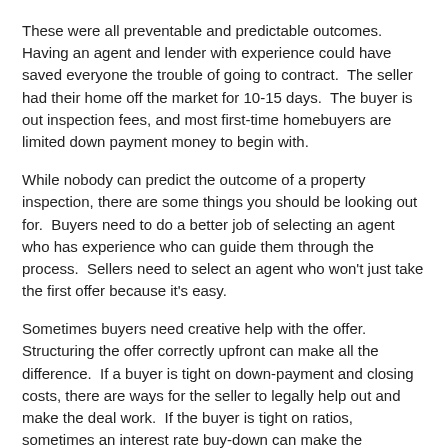These were all preventable and predictable outcomes.  Having an agent and lender with experience could have saved everyone the trouble of going to contract.  The seller had their home off the market for 10-15 days.  The buyer is out inspection fees, and most first-time homebuyers are limited down payment money to begin with.
While nobody can predict the outcome of a property inspection, there are some things you should be looking out for.  Buyers need to do a better job of selecting an agent who has experience who can guide them through the process.  Sellers need to select an agent who won't just take the first offer because it's easy.
Sometimes buyers need creative help with the offer.  Structuring the offer correctly upfront can make all the difference.  If a buyer is tight on down-payment and closing costs, there are ways for the seller to legally help out and make the deal work.  If the buyer is tight on ratios, sometimes an interest rate buy-down can make the difference.
The key is you have to know upfront the way to go.  It's usually (but not always) too late to go back and correct it later.
We haven't even covered move-up buyers, relocation buyers,